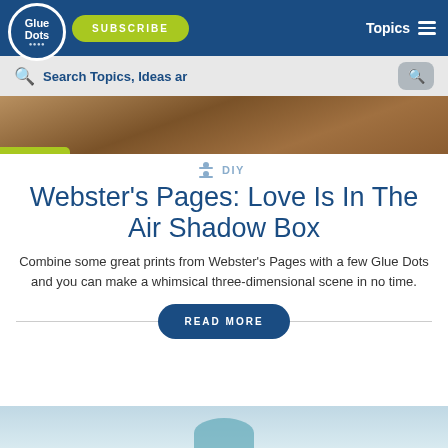Glue Dots | SUBSCRIBE | Topics
Search Topics, Ideas ar
[Figure (photo): Close-up photo of a wooden fence post with blurred natural background]
DIY
Webster's Pages: Love Is In The Air Shadow Box
Combine some great prints from Webster's Pages with a few Glue Dots and you can make a whimsical three-dimensional scene in no time.
READ MORE
[Figure (photo): Partial view of next article's hero image at bottom of page]